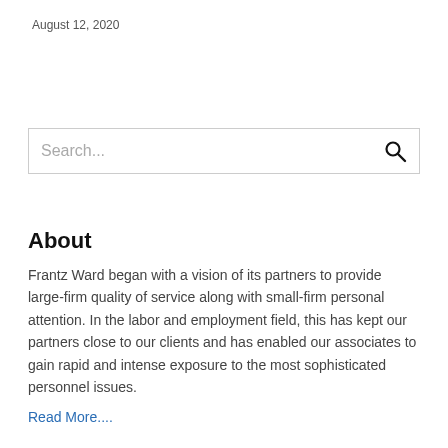August 12, 2020
[Figure (other): Search bar with magnifying glass icon and placeholder text 'Search...']
About
Frantz Ward began with a vision of its partners to provide large-firm quality of service along with small-firm personal attention. In the labor and employment field, this has kept our partners close to our clients and has enabled our associates to gain rapid and intense exposure to the most sophisticated personnel issues.
Read More....